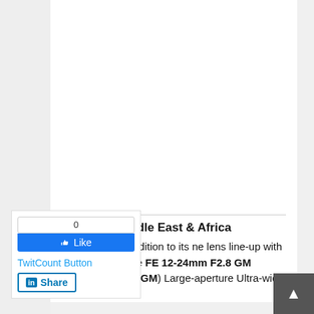[Figure (screenshot): White blank article image area at the top of the page]
[Figure (screenshot): Social sharing panel with Facebook Like button showing count 0, TwitCount Button link, and LinkedIn Share button]
Middle East & Africa
nced the new addition to its ne lens line-up with the ....ction of the FE 12-24mm F2.8 GM (model SEL1224GM) Large-aperture Ultra-wide Zoom lens